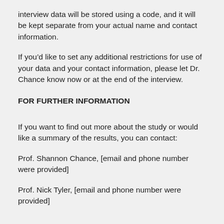interview data will be stored using a code, and it will be kept separate from your actual name and contact information.
If you’d like to set any additional restrictions for use of your data and your contact information, please let Dr. Chance know now or at the end of the interview.
FOR FURTHER INFORMATION
If you want to find out more about the study or would like a summary of the results, you can contact:
Prof. Shannon Chance, [email and phone number were provided]
Prof. Nick Tyler, [email and phone number were provided]